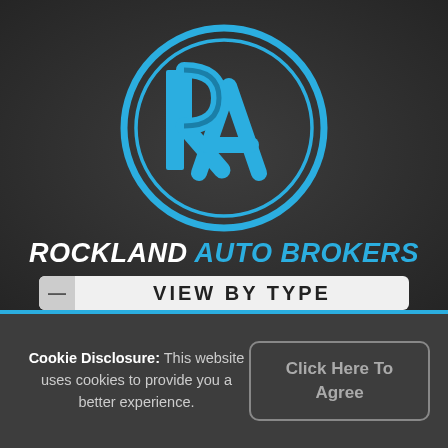[Figure (logo): Rockland Auto Brokers logo: blue circular RA monogram on dark textured background]
ROCKLAND AUTO BROKERS
VIEW BY TYPE
Cookie Disclosure: This website uses cookies to provide you a better experience.
Click Here To Agree